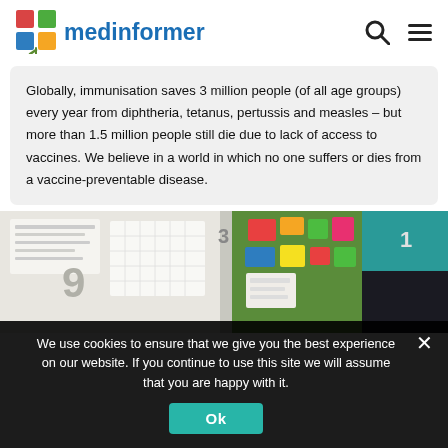medinformer
Globally, immunisation saves 3 million people (of all age groups) every year from diphtheria, tetanus, pertussis and measles – but more than 1.5 million people still die due to lack of access to vaccines. We believe in a world in which no one suffers or dies from a vaccine-preventable disease.
[Figure (photo): Classroom bulletin board with colorful papers, charts, and decorations posted on green and other colored boards]
We use cookies to ensure that we give you the best experience on our website. If you continue to use this site we will assume that you are happy with it.